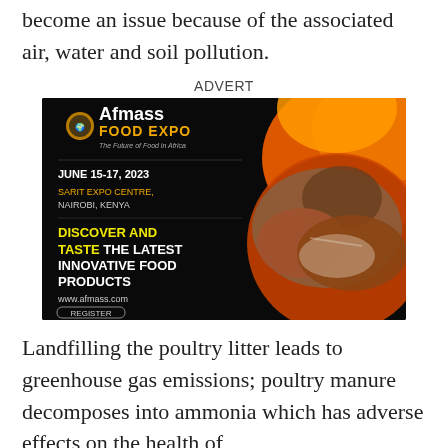become an issue because of the associated air, water and soil pollution.
ADVERT
[Figure (illustration): Afmass Food Expo advertisement banner. Black background with orange decorative swirl on the right and images of bread loaves. Text reads: Afmass FOOD EXPO - The Future of Food in Africa. JUNE 15-17, 2023. SARIT EXPO CENTRE, NAIROBI, KENYA. DISCOVER AND TASTE THE LATEST INNOVATIVE FOOD PRODUCTS. www.afmass.com. REGISTER button.]
Landfilling the poultry litter leads to greenhouse gas emissions; poultry manure decomposes into ammonia which has adverse effects on the health of